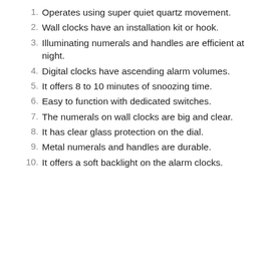Operates using super quiet quartz movement.
Wall clocks have an installation kit or hook.
Illuminating numerals and handles are efficient at night.
Digital clocks have ascending alarm volumes.
It offers 8 to 10 minutes of snoozing time.
Easy to function with dedicated switches.
The numerals on wall clocks are big and clear.
It has clear glass protection on the dial.
Metal numerals and handles are durable.
It offers a soft backlight on the alarm clocks.